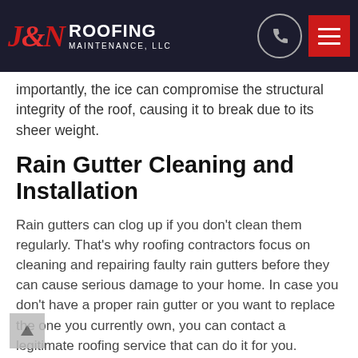J&N Roofing Maintenance, LLC
importantly, the ice can compromise the structural integrity of the roof, causing it to break due to its sheer weight.
Rain Gutter Cleaning and Installation
Rain gutters can clog up if you don't clean them regularly. That's why roofing contractors focus on cleaning and repairing faulty rain gutters before they can cause serious damage to your home. In case you don't have a proper rain gutter or you want to replace the one you currently own, you can contact a legitimate roofing service that can do it for you.